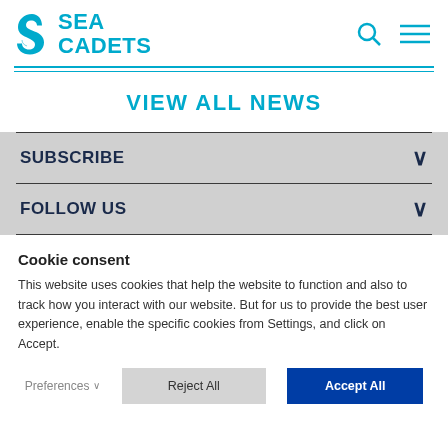SEA CADETS
VIEW ALL NEWS
SUBSCRIBE
FOLLOW US
Cookie consent
This website uses cookies that help the website to function and also to track how you interact with our website. But for us to provide the best user experience, enable the specific cookies from Settings, and click on Accept.